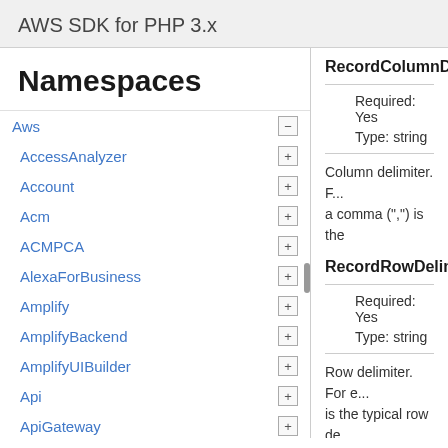AWS SDK for PHP 3.x
Namespaces
Aws
AccessAnalyzer
Account
Acm
ACMPCA
AlexaForBusiness
Amplify
AmplifyBackend
AmplifyUIBuilder
Api
ApiGateway
ApiGatewayManagementApi
RecordColumnDelimiter
Required: Yes
Type: string
Column delimiter. For example, in a CSV format, a comma (",") is the
RecordRowDelimiter
Required: Yes
Type: string
Row delimiter. For e... is the typical row de